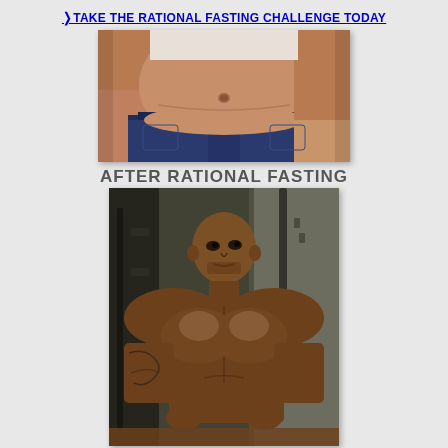❯TAKE THE RATIONAL FASTING CHALLENGE TODAY
[Figure (photo): Before photo showing overweight man's torso/belly area wearing blue jeans]
AFTER RATIONAL FASTING
[Figure (photo): After photo showing fit muscular man shirtless in gym setting]